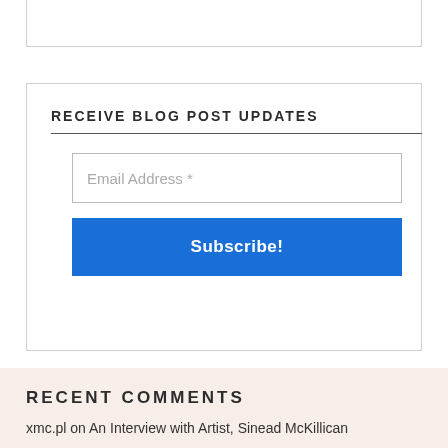RECEIVE BLOG POST UPDATES
[Figure (screenshot): Email subscription form with an email address input field and a blue Subscribe! button]
RECENT COMMENTS
xmc.pl on An Interview with Artist, Sinead McKillican